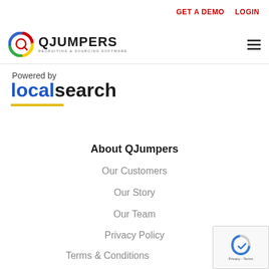GET A DEMO   LOGIN
[Figure (logo): QJumpers Recruiting & Sourcing Software logo with circular colored icon]
Powered by
[Figure (logo): localsearch logo in blue and black with yellow underline]
About QJumpers
Our Customers
Our Story
Our Team
Privacy Policy
Terms & Conditions